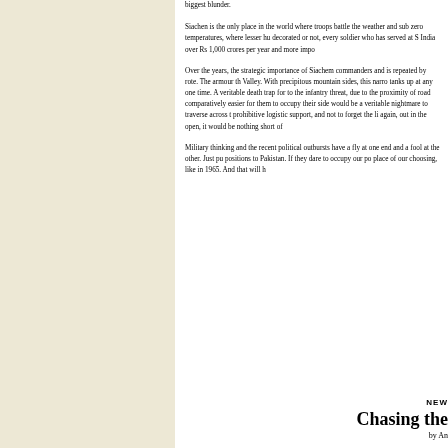biggest blunder. Siachen is the only place in the world where troops battle the weather and sub zero temperatures, where lesser humans fear to tread, decorated or not, every soldier who has served at Siachen costs India over Rs 1,000 crores per year and more impo...
Over the years, the strategic importance of Siachen commanders and is repeated by rote. The armour th Valley. With precipitous mountain sides, this narro tanks up at any one time. A veritable death trap for to the infantry threat, due to the proximity of road comparatively easier for them to occupy their side would be a veritable nightmare to traverse across t prohibitive logistic support, and not to forget the li again, out in the open, it would be nothing short of
Military thinking and the recent political outbursts have a fly at one end and a fool at the other. Just pu positions to Pakistan. If they dare to occupy our po place of our choosing, like in 1965. And that will h
NEW
Chasing the
by An